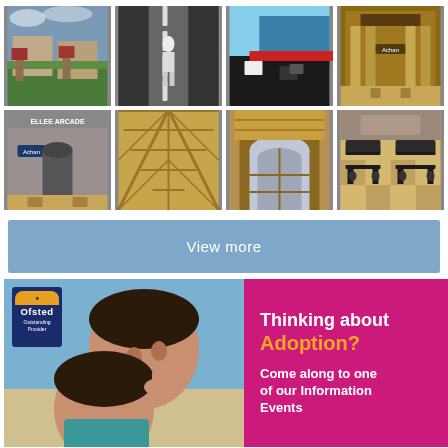[Figure (photo): 8-photo grid showing urban scenes and arcade interiors]
View more
[Figure (photo): Children smiling with Ofsted Outstanding Provider badge]
[Figure (infographic): Pink banner: Thinking about Adoption? Come along to one of our Information Events]